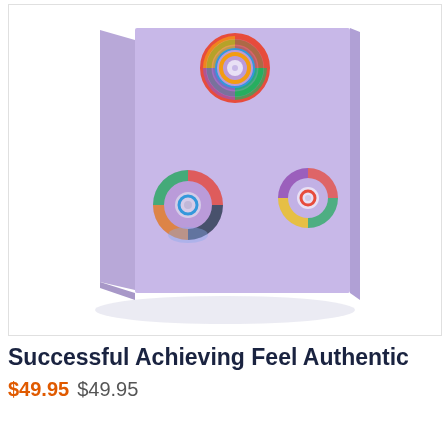[Figure (illustration): A lavender/purple book cover shown in 3D perspective, standing upright with a slight shadow beneath. Three colorful circular disc/CD-like designs are placed on the cover: one at the top-center, one at the lower-left, and one at the lower-right. The overall background inside the image frame is white.]
Successful Achieving Feel Authentic
$49.95 $49.95